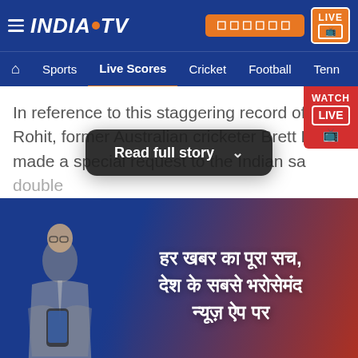[Figure (screenshot): India TV website header with logo, navigation bar including Home, Sports, Live Scores (active), Cricket, Football, Tennis]
In reference to this staggering record of Rohit, former Australian cricketer Brett Lee made a special request to the Indian sa... double
[Figure (screenshot): Read full story button overlay (dark rounded rectangle with chevron)]
[Figure (photo): India TV app advertisement banner showing a man in suit with phone, Hindi text: हर खबर का पूरा सच, देश के सबसे भरोसेमंद न्यूज़ ऐप पर]